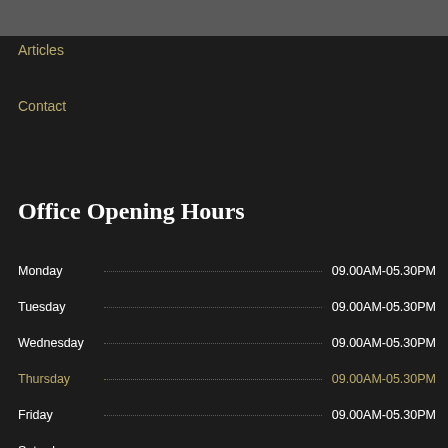Articles
Contact
Office Opening Hours
| Day | Hours |
| --- | --- |
| Monday | 09.00AM-05.30PM |
| Tuesday | 09.00AM-05.30PM |
| Wednesday | 09.00AM-05.30PM |
| Thursday | 09.00AM-05.30PM |
| Friday | 09.00AM-05.30PM |
| Saturday |  |
| Sunday | Closed |